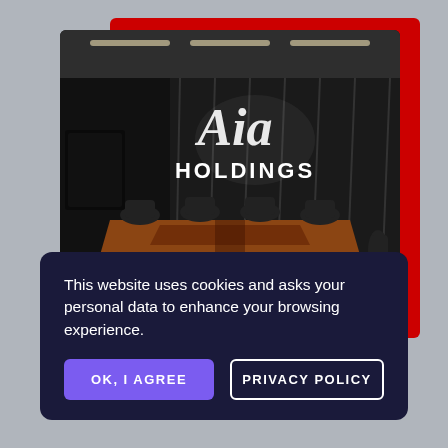[Figure (photo): Boardroom interior with dark paneled walls, conference table, black chairs, and 'Aia HOLDINGS' logo on the wall. Red accent block visible behind the photo.]
This website uses cookies and asks your personal data to enhance your browsing experience.
OK, I AGREE
PRIVACY POLICY